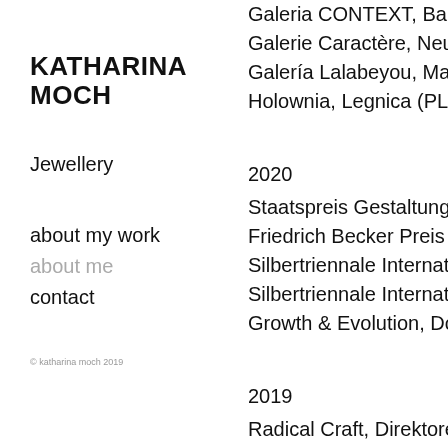KATHARINA MOCH
Jewellery
about my work
about me
contact
© katharina moch 2019
Galeria CONTEXT, Barcelona
Galerie Caractère, Neuchâtel
Galería Lalabeyou, Madrid (B
Holownia, Legnica (PL)
2020
Staatspreis Gestaltung Kunst
Friedrich Becker Preis Düsse
Silbertriennale International, I
Silbertriennale International, V
Growth & Evolution, Dongche
2019
Radical Craft, Direktorenhaus
Silbertriennale International, I
Ho!Ho!Ho! friends of carlotta,
2015
Artist in Residence Idar Ober
2014
"Suspended in Green" travel!